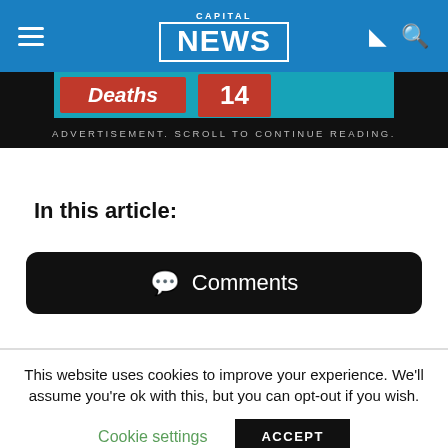CAPITAL NEWS
[Figure (screenshot): Partial COVID-19 statistics banner showing 'Deaths' label and number '14' in red buttons on a teal background with black side panels]
ADVERTISEMENT. SCROLL TO CONTINUE READING.
In this article:
Comments
This website uses cookies to improve your experience. We'll assume you're ok with this, but you can opt-out if you wish.
Cookie settings  ACCEPT